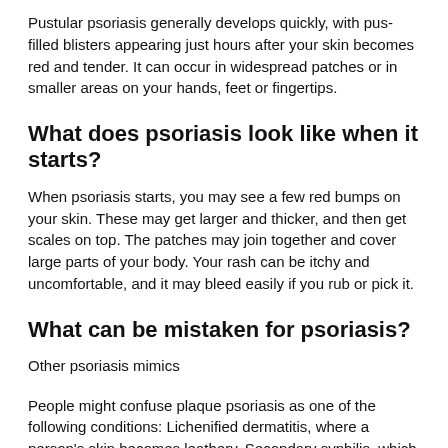Pustular psoriasis generally develops quickly, with pus-filled blisters appearing just hours after your skin becomes red and tender. It can occur in widespread patches or in smaller areas on your hands, feet or fingertips.
What does psoriasis look like when it starts?
When psoriasis starts, you may see a few red bumps on your skin. These may get larger and thicker, and then get scales on top. The patches may join together and cover large parts of your body. Your rash can be itchy and uncomfortable, and it may bleed easily if you rub or pick it.
What can be mistaken for psoriasis?
Other psoriasis mimics
People might confuse plaque psoriasis as one of the following conditions: Lichenified dermatitis, where a person's skin becomes leathery. Secondary syphilis, which includes a skin rash plus swollen lymph nodes and fever. Mycosis fungoides, a rare type of skin cancer.